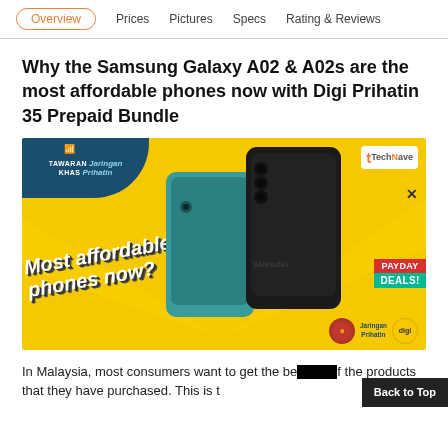Overview  Prices  Pictures  Specs  Rating & Reviews
Why the Samsung Galaxy A02 & A02s are the most affordable phones now with Digi Prihatin 35 Prepaid Bundle
[Figure (photo): Promotional banner showing Samsung Galaxy A02 and A02s phones on yellow background with text 'Most affordable phones now?' and Jaringan Prihatin branding]
In Malaysia, most consumers want to get the best value of the products that they have purchased. This is t